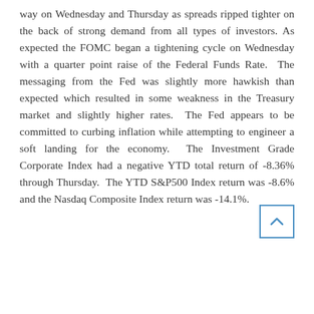way on Wednesday and Thursday as spreads ripped tighter on the back of strong demand from all types of investors. As expected the FOMC began a tightening cycle on Wednesday with a quarter point raise of the Federal Funds Rate. The messaging from the Fed was slightly more hawkish than expected which resulted in some weakness in the Treasury market and slightly higher rates. The Fed appears to be committed to curbing inflation while attempting to engineer a soft landing for the economy. The Investment Grade Corporate Index had a negative YTD total return of -8.36% through Thursday. The YTD S&P500 Index return was -8.6% and the Nasdaq Composite Index return was -14.1%.